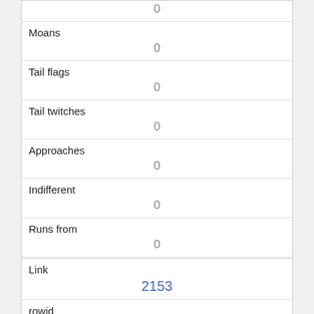|  | 0 |
| Moans | 0 |
| Tail flags | 0 |
| Tail twitches | 0 |
| Approaches | 0 |
| Indifferent | 0 |
| Runs from | 0 |
| Other Interactions |  |
| Lat/Long | POINT (-73.9577758125518 40.799384716477) |
| Link | 2153 |
| rowid |  |